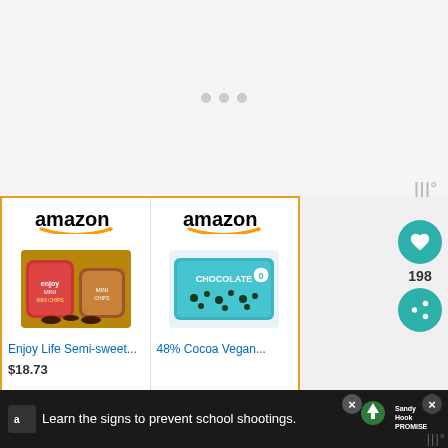[Figure (screenshot): Loading placeholder area with three dots on light gray background]
[Figure (screenshot): Amazon product card for Enjoy Life Semi-sweet mini chips, price $18.73]
[Figure (screenshot): Amazon product card for 48% Cocoa Vegan chocolate chips]
Enjoy Life Semi-sweet...
$18.73
48% Cocoa Vegan...
198
Learn the signs to prevent school shootings.